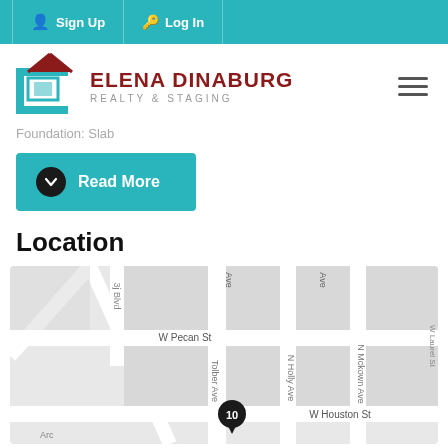Sign Up  Log In
[Figure (logo): Elena Dinaburg Realty & Staging logo with teal house icon and red/dark text]
Foundation: Slab
Read More
Location
[Figure (map): Street map showing W Pecan St, N Holly Ave, N McKown Ave, W Houston St, Tolbert Ave area with marker labeled 10]